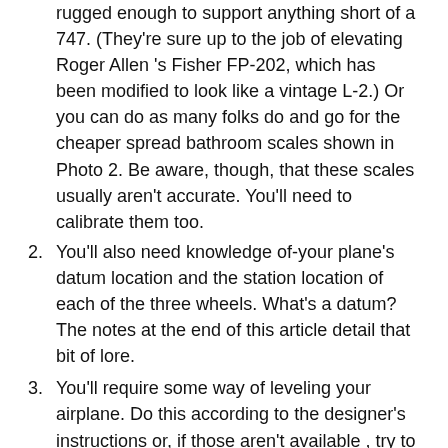rugged enough to support anything short of a 747. (They're sure up to the job of elevating Roger Allen 's Fisher FP-202, which has been modified to look like a vintage L-2.) Or you can do as many folks do and go for the cheaper spread bathroom scales shown in Photo 2. Be aware, though, that these scales usually aren't accurate. You'll need to calibrate them too.
2. You'll also need knowledge of-your plane's datum location and the station location of each of the three wheels. What's a datum? The notes at the end of this article detail that bit of lore.
3. You'll require some way of leveling your airplane. Do this according to the designer's instructions or, if those aren't available , try to get the airplane into the attitude that it would be in level flight. This can be approximated accurately by leveling the top longeron. Remember, you'll need a tail stand for a tailwheel airplane.
4. You' ll also need ramps to get the plane onto the scales.